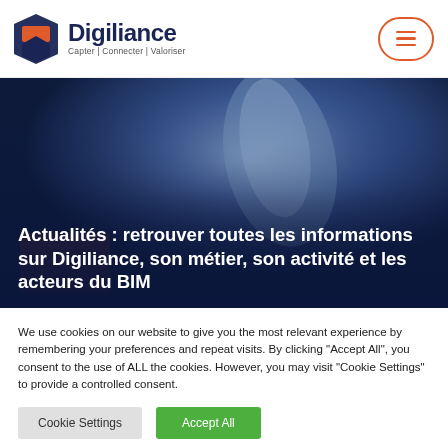[Figure (logo): Digiliance logo with orange/navy icon and text 'Digiliance — Capter | Connecter | Valoriser']
[Figure (photo): Close-up of a hand touching a glowing screen in dark blue tones]
Actualités : retrouver toutes les informations sur Digiliance, son métier, son activité et les acteurs du BIM
We use cookies on our website to give you the most relevant experience by remembering your preferences and repeat visits. By clicking "Accept All", you consent to the use of ALL the cookies. However, you may visit "Cookie Settings" to provide a controlled consent.
Cookie Settings
Accept All